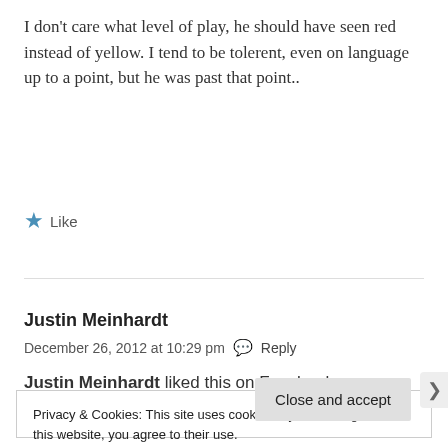I don't care what level of play, he should have seen red instead of yellow. I tend to be tolerent, even on language up to a point, but he was past that point..
★ Like
Justin Meinhardt
December 26, 2012 at 10:29 pm  💬 Reply
Justin Meinhardt liked this on Facebook.
Privacy & Cookies: This site uses cookies. By continuing to use this website, you agree to their use.
To find out more, including how to control cookies, see here: Cookie Policy
Close and accept